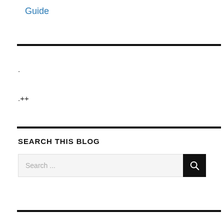Guide
.
.++
SEARCH THIS BLOG
[Figure (screenshot): Search input box with placeholder text 'Search ...' and a dark search button with magnifying glass icon]